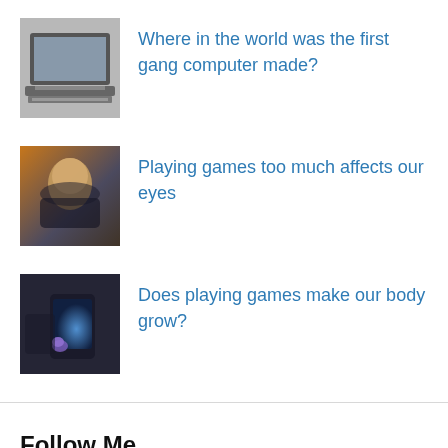Where in the world was the first gang computer made?
Playing games too much affects our eyes
Does playing games make our body grow?
Follow Me